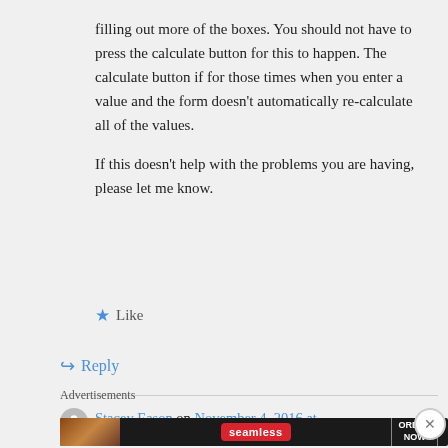filling out more of the boxes. You should not have to press the calculate button for this to happen. The calculate button if for those times when you enter a value and the form doesn't automatically re-calculate all of the values.
If this doesn't help with the problems you are having, please let me know.
★ Like
↪ Reply
Advertisements
Stacey Eason on November 4, 2016 at
[Figure (photo): Seamless food delivery advertisement banner with pizza image, Seamless logo, and ORDER NOW button]